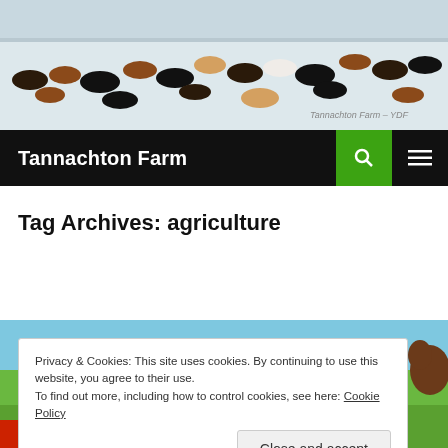[Figure (photo): Aerial view of cattle herd grazing on a snow-covered field with text overlay 'Tannachton Farm – YDF']
Tannachton Farm
Tag Archives: agriculture
[Figure (photo): Farm scene with green fields and farm machinery visible at bottom]
Privacy & Cookies: This site uses cookies. By continuing to use this website, you agree to their use.
To find out more, including how to control cookies, see here: Cookie Policy
Close and accept